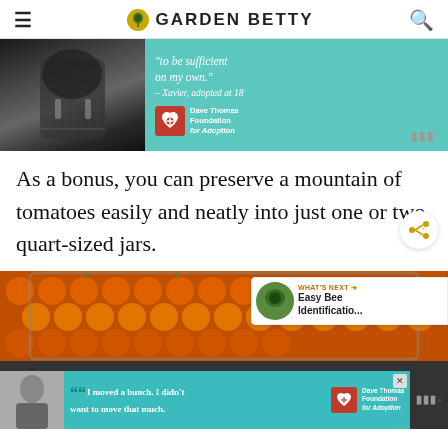GARDEN BETTY
[Figure (photo): Advertisement: Dave Thomas Foundation for Adoption with person in jacket and teal background with quote 'to be sufficient on my own. – Xavier, adopted at 18']
As a bonus, you can preserve a mountain of tomatoes easily and neatly into just one or two quart-sized jars.
[Figure (photo): Photo of orange/red cherry tomatoes in a baking tray with What's Next sidebar showing 'Easy Bee Identificatio...']
[Figure (photo): Advertisement: Dave Thomas Foundation for Adoption with quote 'I moved a bunch. I didn't want to move that much.']